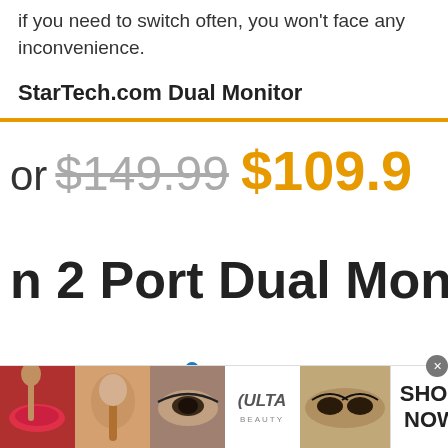if you need to switch often, you won't face any inconvenience.
StarTech.com Dual Monitor
or $149.99 $109.9
n 2 Port Dual Mon
[Figure (photo): Ulta Beauty cosmetics advertisement banner showing close-up makeup photos and Ulta logo with SHOP NOW text]